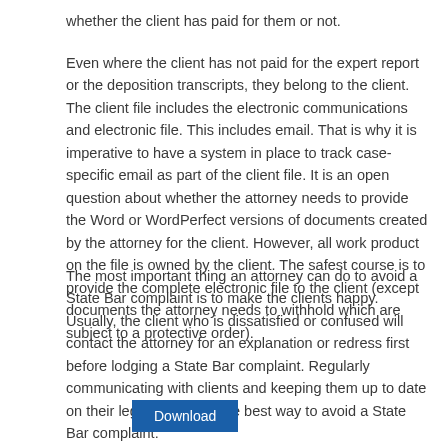whether the client has paid for them or not.
Even where the client has not paid for the expert report or the deposition transcripts, they belong to the client. The client file includes the electronic communications and electronic file. This includes email. That is why it is imperative to have a system in place to track case-specific email as part of the client file. It is an open question about whether the attorney needs to provide the Word or WordPerfect versions of documents created by the attorney for the client. However, all work product on the file is owned by the client. The safest course is to provide the complete electronic file to the client (except documents the attorney needs to withhold which are subject to a protective order).
The most important thing an attorney can do to avoid a State Bar complaint is to make the clients happy. Usually, the client who is dissatisfied or confused will contact the attorney for an explanation or redress first before lodging a State Bar complaint. Regularly communicating with clients and keeping them up to date on their legal matters is the best way to avoid a State Bar complaint.
Download